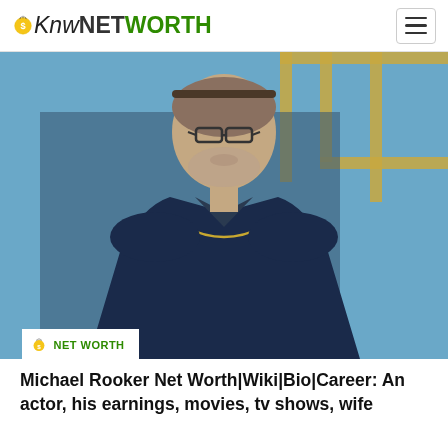KnowNETWORTH
[Figure (photo): Michael Rooker, a middle-aged man with grey stubble beard and glasses, wearing a navy blue blazer over a dark v-neck shirt with a gold chain necklace, standing in front of a blue and gold geometric backdrop.]
NET WORTH
Michael Rooker Net Worth|Wiki|Bio|Career: An actor, his earnings, movies, tv shows, wife